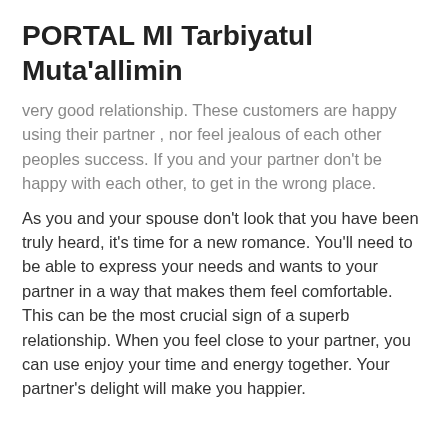PORTAL MI Tarbiyatul Muta'allimin
very good relationship. These customers are happy using their partner , nor feel jealous of each other peoples success. If you and your partner don't be happy with each other, to get in the wrong place.
As you and your spouse don't look that you have been truly heard, it's time for a new romance. You'll need to be able to express your needs and wants to your partner in a way that makes them feel comfortable. This can be the most crucial sign of a superb relationship. When you feel close to your partner, you can use enjoy your time and energy together. Your partner's delight will make you happier.